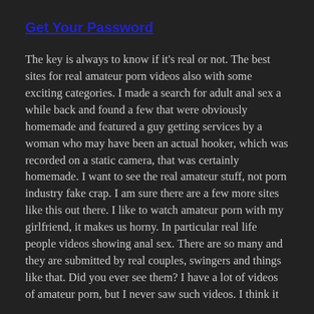Get Your Password
The key is always to know if it's real or not. The best sites for real amateur porn videos also with some exciting categories. I made a search for adult anal sex a while back and found a few that were obviously homemade and featured a guy getting services by a woman who may have been an actual hooker, which was recorded on a static camera, that was certainly homemade. I want to see the real amateur stuff, not porn industry fake crap. I am sure there are a few more sites like this out there. I like to watch amateur porn with my girlfriend, it makes us horny. In particular real life people videos showing anal sex. There are so many and they are submitted by real couples, swingers and things like that. Did you ever see them? I have a lot of videos of amateur porn, but I never saw such videos. I think it